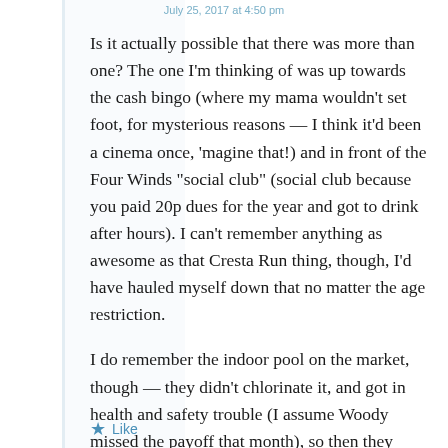July 25, 2017 at 4:50 pm
Is it actually possible that there was more than one? The one I'm thinking of was up towards the cash bingo (where my mama wouldn't set foot, for mysterious reasons — I think it'd been a cinema once, 'magine that!) and in front of the Four Winds “social club” (social club because you paid 20p dues for the year and got to drink after hours). I can't remember anything as awesome as that Cresta Run thing, though, I'd have hauled myself down that no matter the age restriction.
I do remember the indoor pool on the market, though — they didn't chlorinate it, and got in health and safety trouble (I assume Woody missed the payoff that month), so then they went to the extreme, and the pool was actually more chlorine than water.
Like